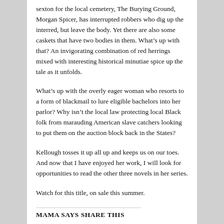sexton for the local cemetery, The Burying Ground, Morgan Spicer, has interrupted robbers who dig up the interred, but leave the body. Yet there are also some caskets that have two bodies in them. What’s up with that? An invigorating combination of red herrings mixed with interesting historical minutiae spice up the tale as it unfolds.
What’s up with the overly eager woman who resorts to a form of blackmail to lure eligible bachelors into her parlor? Why isn’t the local law protecting local Black folk from marauding American slave catchers looking to put them on the auction block back in the States?
Kellough tosses it up all up and keeps us on our toes. And now that I have enjoyed her work, I will look for opportunities to read the other three novels in her series.
Watch for this title, on sale this summer.
MAMA SAYS SHARE THIS